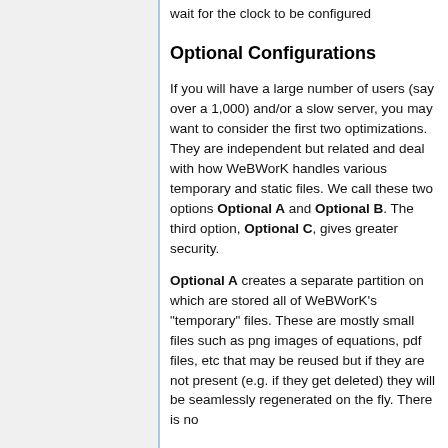wait for the clock to be configured
Optional Configurations
If you will have a large number of users (say over a 1,000) and/or a slow server, you may want to consider the first two optimizations. They are independent but related and deal with how WeBWorK handles various temporary and static files. We call these two options Optional A and Optional B. The third option, Optional C, gives greater security.
Optional A creates a separate partition on which are stored all of WeBWorK's "temporary" files. These are mostly small files such as png images of equations, pdf files, etc that may be reused but if they are not present (e.g. if they get deleted) they will be seamlessly regenerated on the fly. There is no